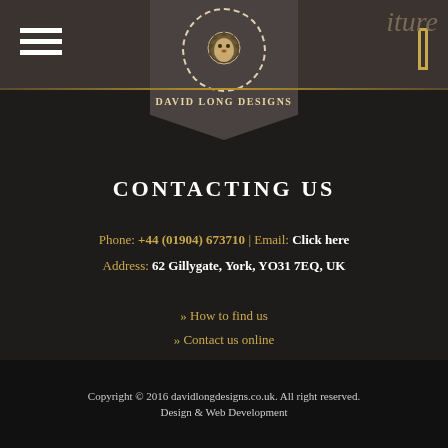David Long Designs
CONTACTING US
Phone: +44 (01904) 673710  |  Email: Click here
Address: 62 Gillygate, York, YO31 7EQ, UK
» How to find us
» Contact us online
Copyright © 2016 davidlongdesigns.co.uk. All right reserved. Design & Web Development